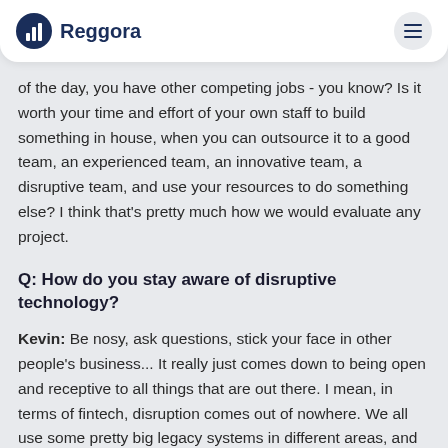have. and how much does it cost to build it?
[Figure (logo): Reggora logo with circular chart icon and brand name in dark navy blue]
of the day, you have other competing jobs - you know? Is it worth your time and effort of your own staff to build something in house, when you can outsource it to a good team, an experienced team, an innovative team, a disruptive team, and use your resources to do something else? I think that's pretty much how we would evaluate any project.
Q: How do you stay aware of disruptive technology?
Kevin: Be nosy, ask questions, stick your face in other people's business... It really just comes down to being open and receptive to all things that are out there. I mean, in terms of fintech, disruption comes out of nowhere. We all use some pretty big legacy systems in different areas, and fintech disruption comes out of left field, so if you're not watching, you'll miss it.